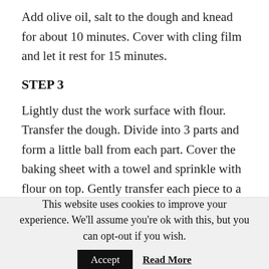Add olive oil, salt to the dough and knead for about 10 minutes. Cover with cling film and let it rest for 15 minutes.
STEP 3
Lightly dust the work surface with flour. Transfer the dough. Divide into 3 parts and form a little ball from each part. Cover the baking sheet with a towel and sprinkle with flour on top. Gently transfer each piece to a towel, leaving enough space between them, and sprinkle with flour. Cover
This website uses cookies to improve your experience. We'll assume you're ok with this, but you can opt-out if you wish.
Accept   Read More